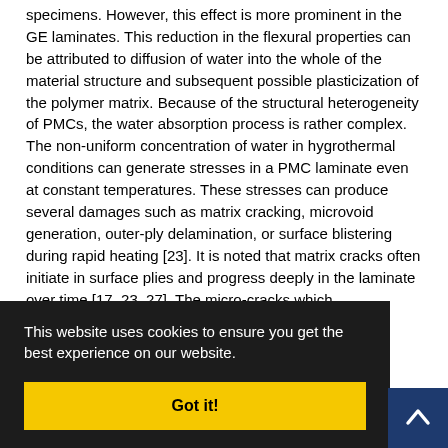specimens. However, this effect is more prominent in the GE laminates. This reduction in the flexural properties can be attributed to diffusion of water into the whole of the material structure and subsequent possible plasticization of the polymer matrix. Because of the structural heterogeneity of PMCs, the water absorption process is rather complex. The non-uniform concentration of water in hygrothermal conditions can generate stresses in a PMC laminate even at constant temperatures. These stresses can produce several damages such as matrix cracking, microvoid generation, outer-ply delamination, or surface blistering during rapid heating [23]. It is noted that matrix cracks often initiate in surface plies and progress deeply in the laminate over time [17, 23, 27]. The micro-cracks which …ote new …debonding …8]. …strength …to dry …ively. In …FMLs did not show a significant reduction after hygrothermal
This website uses cookies to ensure you get the best experience on our website.
Got it!